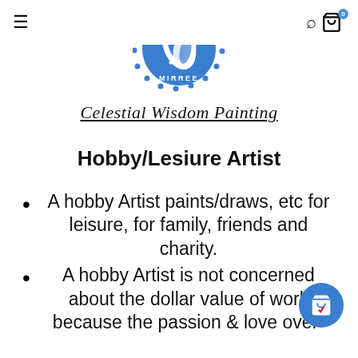Art by Mirree — navigation header with hamburger menu, logo, search icon, and cart with badge 0
[Figure (logo): Art By Mirree circular logo in blue featuring a bird (cockatoo/parrot) silhouette inside a circle with dot border and text 'ART BY MIRREE' around the outside]
Celestial Wisdom Painting
Hobby/Lesiure Artist
A hobby Artist paints/draws, etc for leisure, for family, friends and charity.
A hobby Artist is not concerned about the dollar value of work because the passion & love over-